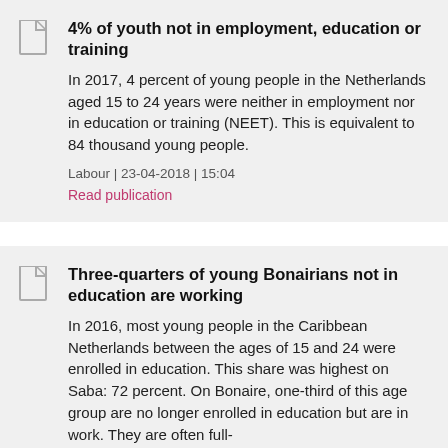4% of youth not in employment, education or training
In 2017, 4 percent of young people in the Netherlands aged 15 to 24 years were neither in employment nor in education or training (NEET). This is equivalent to 84 thousand young people.
Labour | 23-04-2018 | 15:04
Read publication
Three-quarters of young Bonairians not in education are working
In 2016, most young people in the Caribbean Netherlands between the ages of 15 and 24 were enrolled in education. This share was highest on Saba: 72 percent. On Bonaire, one-third of this age group are no longer enrolled in education but are in work. They are often full-